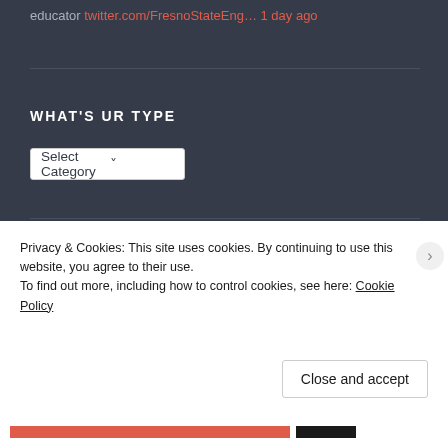educator twitter.com/FresnoStateEng… 1 day ago
WHAT'S UR TYPE
Select Category ▾
BACK IN THA DAY
Select Month ▾
Privacy & Cookies: This site uses cookies. By continuing to use this website, you agree to their use.
To find out more, including how to control cookies, see here: Cookie Policy
Close and accept